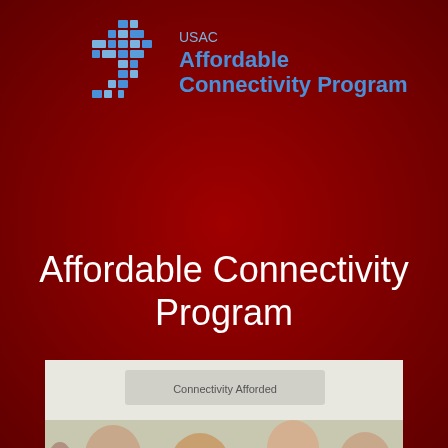[Figure (logo): USAC Affordable Connectivity Program logo with blue geometric cross/grid icon and program name in blue text on dark red background]
Affordable Connectivity Program
[Figure (photo): Four men standing together cutting a red ribbon at an outdoor event under a white tent, with an Affordable Connectivity Program banner visible in the background]